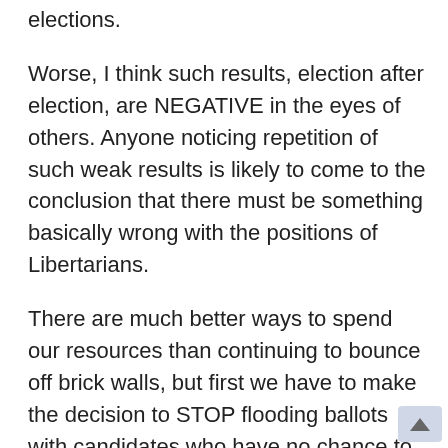elections.
Worse, I think such results, election after election, are NEGATIVE in the eyes of others. Anyone noticing repetition of such weak results is likely to come to the conclusion that there must be something basically wrong with the positions of Libertarians.
There are much better ways to spend our resources than continuing to bounce off brick walls, but first we have to make the decision to STOP flooding ballots with candidates who have no chance to win. In the attempt to run large numbers of candidates, we have also pushed many who really shouldn't be running. I recall a non-libertarian friend referring me to an